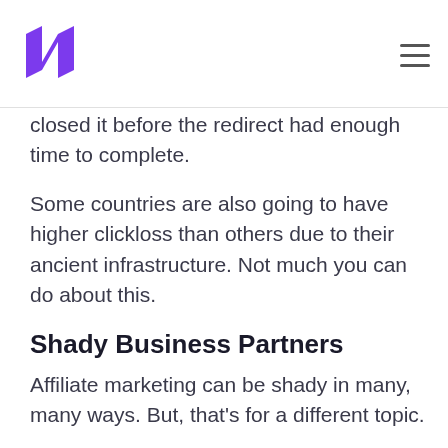[Logo: Lasso/affiliate platform] [Hamburger menu]
closed it before the redirect had enough time to complete.
Some countries are also going to have higher clickloss than others due to their ancient infrastructure. Not much you can do about this.
Shady Business Partners
Affiliate marketing can be shady in many, many ways. But, that's for a different topic.